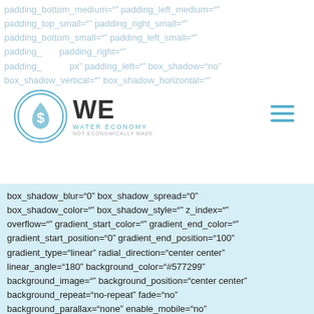padding_bottom_medium="" padding_left_medium="" padding_top_small="" padding_right_small="" padding_bottom_small="" padding_left_small="" padding_right="" padding_bottom="" padding_left="" box_shadow="no" box_shadow_vertical="" box_shadow_horizontal=""
[Figure (logo): Water Economy logo with circular blue water drop icon containing a dollar sign, and WE text beside it with 'WATER ECONOMY' subtitle, plus hamburger menu icon]
box_shadow_blur="0" box_shadow_spread="0" box_shadow_color="" box_shadow_style="" z_index="" overflow="" gradient_start_color="" gradient_end_color="" gradient_start_position="0" gradient_end_position="100" gradient_type="linear" radial_direction="center center" linear_angle="180" background_color="#577299" background_image="" background_position="center center" background_repeat="no-repeat" fade="no" background_parallax="none" enable_mobile="no" parallax_speed="0.3" background_blend_mode="none" video_mp4="" video_webm="" video_ogv="" video_url="" video_aspect_ratio="16:9" video_loop="yes" video_mute="yes" video_preview_image="" absolute="off"